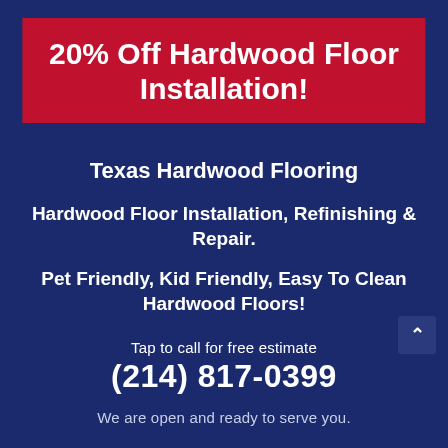20% Off Hardwood Floor Installation!
Texas Hardwood Flooring
Hardwood Floor Installation, Refinishing & Repair.
Pet Friendly, Kid Friendly, Easy To Clean Hardwood Floors!
Tap to call for free estimate
(214) 817-0399
We are open and ready to serve you.